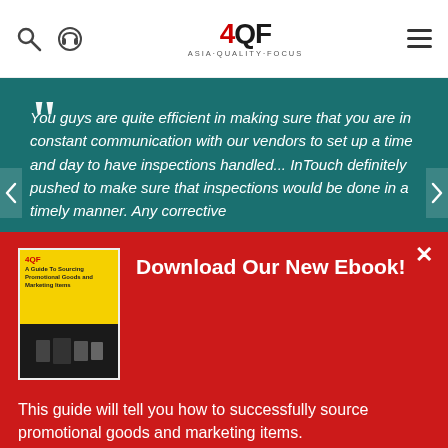4QF ASIA·QUALITY·FOCUS
"You guys are quite efficient in making sure that you are in constant communication with our vendors to set up a time and day to have inspections handled... InTouch definitely pushed to make sure that inspections would be done in a timely manner. Any corrective
Download Our New Ebook!
[Figure (photo): Ebook cover: A Guide To Sourcing Promotional Goods and Marketing Items, with yellow background and product images]
This guide will tell you how to successfully source promotional goods and marketing items.
Download Now